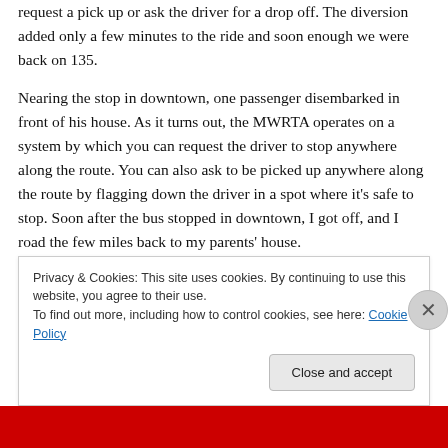request a pick up or ask the driver for a drop off. The diversion added only a few minutes to the ride and soon enough we were back on 135.
Nearing the stop in downtown, one passenger disembarked in front of his house. As it turns out, the MWRTA operates on a system by which you can request the driver to stop anywhere along the route. You can also ask to be picked up anywhere along the route by flagging down the driver in a spot where it's safe to stop. Soon after the bus stopped in downtown, I got off, and I road the few miles back to my parents' house.
Privacy & Cookies: This site uses cookies. By continuing to use this website, you agree to their use.
To find out more, including how to control cookies, see here: Cookie Policy